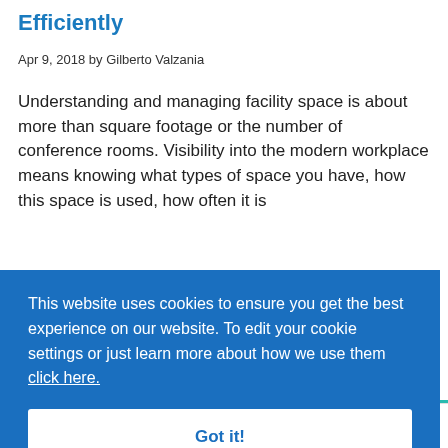Efficiently
Apr 9, 2018 by Gilberto Valzania
Understanding and managing facility space is about more than square footage or the number of conference rooms. Visibility into the modern workplace means knowing what types of space you have, how this space is used, how often it is
This website uses cookies to ensure you get the best experience on our website. To edit your cookie settings or just learn more about how we use them click here.

Got it!
First  3  4  5  6  7  Last